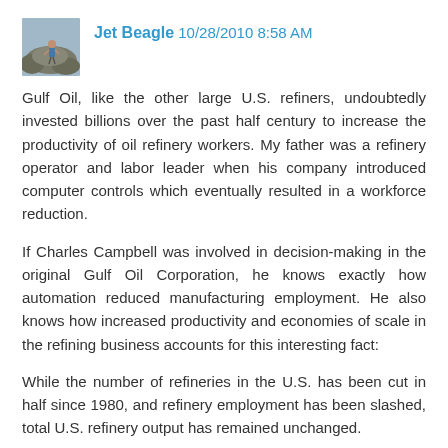Jet Beagle 10/28/2010 8:58 AM
Gulf Oil, like the other large U.S. refiners, undoubtedly invested billions over the past half century to increase the productivity of oil refinery workers. My father was a refinery operator and labor leader when his company introduced computer controls which eventually resulted in a workforce reduction.
If Charles Campbell was involved in decision-making in the original Gulf Oil Corporation, he knows exactly how automation reduced manufacturing employment. He also knows how increased productivity and economies of scale in the refining business accounts for this interesting fact:
While the number of refineries in the U.S. has been cut in half since 1980, and refinery employment has been slashed, total U.S. refinery output has remained unchanged.
Reply